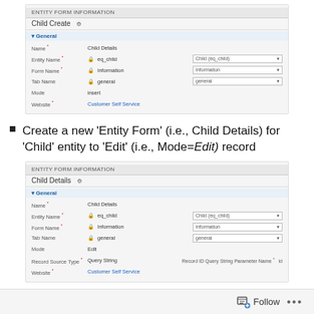[Figure (screenshot): Entity Form Information - Child Create form screenshot showing fields: Name (Child Details), Entity Name (eq_child), Form Name (Information), Tab Name (general), Mode (insert), Website (Customer Self Service) with dropdowns]
Create a new 'Entity Form' (i.e., Child Details) for 'Child' entity to 'Edit' (i.e., Mode=Edit) record
[Figure (screenshot): Entity Form Information - Child Details form screenshot showing fields: Name (Child Details), Entity Name (eq_child), Form Name (Information), Tab Name (general), Mode (Edit), Record Source Type (Query String), Website (Customer Self Service) with dropdowns and Record ID Query String Parameter Name field]
On 'Employee' entity form, configure 'Child' 'Sub grid' using 'Entity Form Metadata'
Follow ...